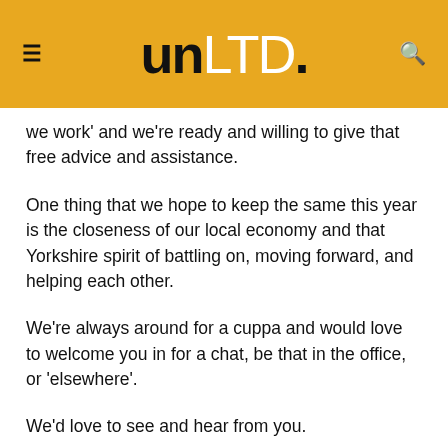unLTD.
we work' and we're ready and willing to give that free advice and assistance.
One thing that we hope to keep the same this year is the closeness of our local economy and that Yorkshire spirit of battling on, moving forward, and helping each other.
We're always around for a cuppa and would love to welcome you in for a chat, be that in the office, or 'elsewhere'.
We'd love to see and hear from you.
For more information or to get in touch, visit us at